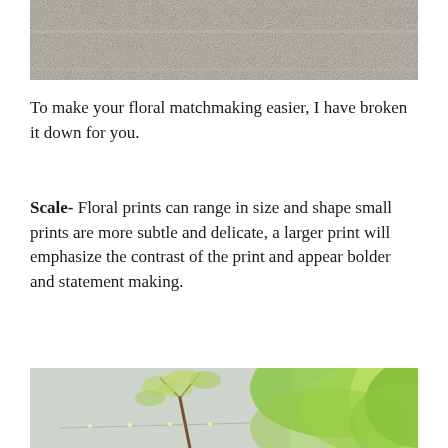[Figure (photo): A close-up photo of a rough concrete or stone wall surface, grey in texture, appearing at the top of the page.]
To make your floral matchmaking easier, I have broken it down for you.
Scale- Floral prints can range in size and shape small prints are more subtle and delicate, a larger print will emphasize the contrast of the print and appear bolder and statement making.
[Figure (photo): A photo of outdoor green trees and foliage against a concrete wall, with string lights visible, bright natural greenery on the right side blurred in the foreground.]